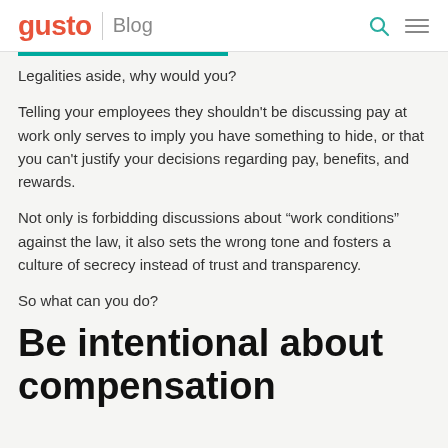gusto | Blog
Legalities aside, why would you?
Telling your employees they shouldn't be discussing pay at work only serves to imply you have something to hide, or that you can't justify your decisions regarding pay, benefits, and rewards.
Not only is forbidding discussions about “work conditions” against the law, it also sets the wrong tone and fosters a culture of secrecy instead of trust and transparency.
So what can you do?
Be intentional about compensation